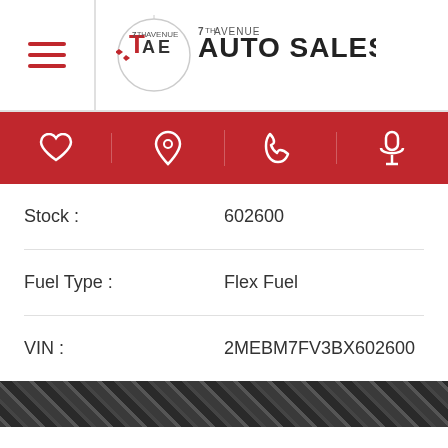[Figure (logo): 7th Avenue Auto Sales logo with hamburger menu icon on the left and circular emblem with TAE letters]
[Figure (infographic): Red navigation bar with heart, location pin, phone, and microphone icons]
| Stock : | 602600 |
| Fuel Type : | Flex Fuel |
| VIN : | 2MEBM7FV3BX602600 |
[Figure (infographic): Diamond plate dark metal texture strip]
[Figure (infographic): Fuel economy section showing 16.00 CITY and 24.00 HWY with red fuel pump icon and red chat bubble button]